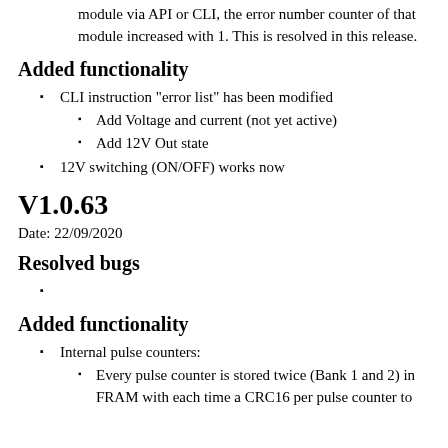When requesting the Pulse Counter information from an input module via API or CLI, the error number counter of that module increased with 1. This is resolved in this release.
Added functionality
CLI instruction "error list" has been modified
Add Voltage and current (not yet active)
Add 12V Out state
12V switching (ON/OFF) works now
V1.0.63
Date: 22/09/2020
Resolved bugs
Added functionality
Internal pulse counters:
Every pulse counter is stored twice (Bank 1 and 2) in FRAM with each time a CRC16 per pulse counter to